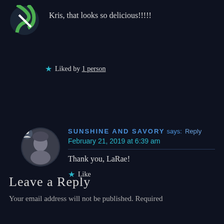[Figure (illustration): Circular avatar icon with green and white design (partial, top-left)]
Kris, that looks so delicious!!!!!
★ Liked by 1 person
[Figure (photo): Circular avatar photo of a woman, black and white, with a small user icon overlay]
SUNSHINE AND SAVORY says: Reply
February 21, 2019 at 6:39 am
Thank you, LaRae!
★ Like
Leave a Reply
Your email address will not be published. Required